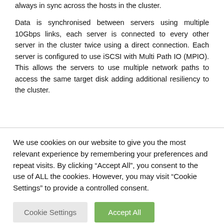always in sync across the hosts in the cluster.
Data is synchronised between servers using multiple 10Gbps links, each server is connected to every other server in the cluster twice using a direct connection. Each server is configured to use iSCSI with Multi Path IO (MPIO). This allows the servers to use multiple network paths to access the same target disk adding additional resiliency to the cluster.
We use cookies on our website to give you the most relevant experience by remembering your preferences and repeat visits. By clicking “Accept All”, you consent to the use of ALL the cookies. However, you may visit “Cookie Settings” to provide a controlled consent.